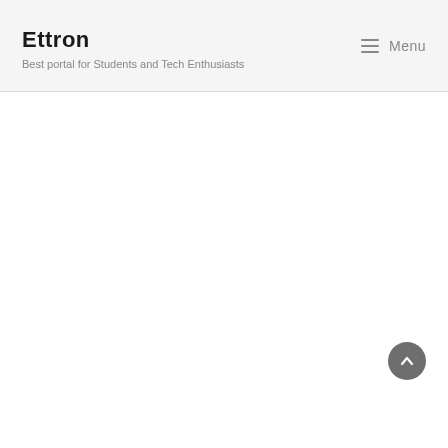Ettron
Best portal for Students and Tech Enthusiasts
Menu